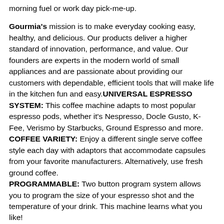morning fuel or work day pick-me-up.
Gourmia's mission is to make everyday cooking easy, healthy, and delicious. Our products deliver a higher standard of innovation, performance, and value. Our founders are experts in the modern world of small appliances and are passionate about providing our customers with dependable, efficient tools that will make life in the kitchen fun and easy.UNIVERSAL ESPRESSO SYSTEM: This coffee machine adapts to most popular espresso pods, whether it's Nespresso, Docle Gusto, K-Fee, Verismo by Starbucks, Ground Espresso and more. COFFEE VARIETY: Enjoy a different single serve coffee style each day with adaptors that accommodate capsules from your favorite manufacturers. Alternatively, use fresh ground coffee. PROGRAMMABLE: Two button program system allows you to program the size of your espresso shot and the temperature of your drink. This machine learns what you like! EASY TO USE: Start enjoying delicious, piping hot coffee in no time! We provided a step by step user manual for your coffee capsule machine and brewer to get you started in no time. ETL LISTED: We, at Gourmia, take the quality of our products seriously. We are ETL certified so you can be confident that you're receiving safe, efficient, high